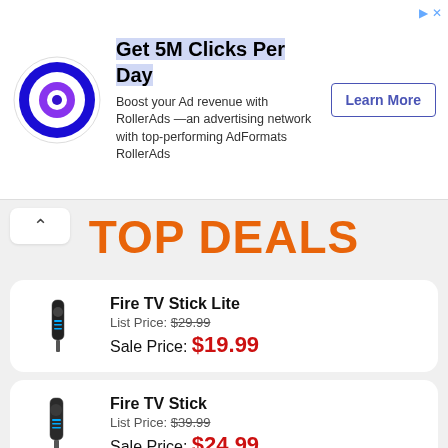[Figure (infographic): RollerAds advertisement banner with blue target/bullseye logo, 'Get 5M Clicks Per Day' headline, body text about advertising network, and 'Learn More' button]
TOP DEALS
[Figure (photo): Fire TV Stick Lite product image]
Fire TV Stick Lite
List Price: $29.99
Sale Price: $19.99
[Figure (photo): Fire TV Stick product image]
Fire TV Stick
List Price: $39.99
Sale Price: $24.99
[Figure (photo): Fire TV Stick 4K product image]
Fire TV Stick 4K
List Price: $49.99
Sale Price: $29.99